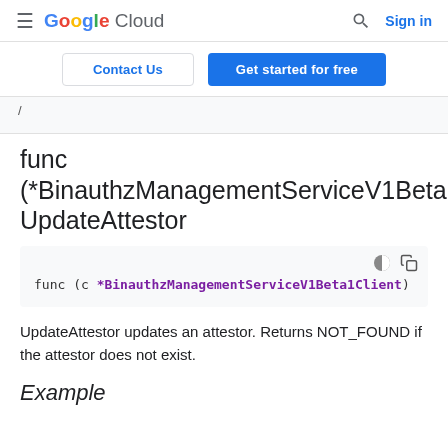Google Cloud — Sign in
Contact Us | Get started for free
func (*BinauthzManagementServiceV1Beta1Clien... UpdateAttestor
func (c *BinauthzManagementServiceV1Beta1Client)
UpdateAttestor updates an attestor. Returns NOT_FOUND if the attestor does not exist.
Example